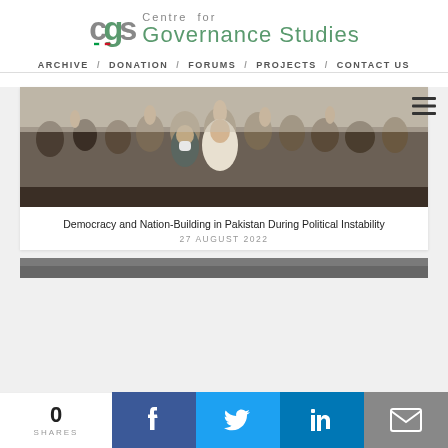[Figure (logo): CGS Centre for Governance Studies logo with stylized text and flag icon]
ARCHIVE / DONATION / FORUMS / PROJECTS / CONTACT US
[Figure (photo): Crowd of men with raised hands at a political gathering in Pakistan]
Democracy and Nation-Building in Pakistan During Political Instability
27 AUGUST 2022
[Figure (photo): Second article image partially visible at bottom]
0 SHARES | Facebook | Twitter | LinkedIn | Email share buttons